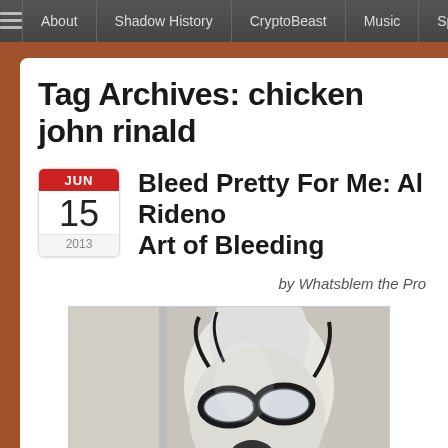About | Shadow History | CryptoBeast | Music | Sp...
Tag Archives: chicken john rinald...
Bleed Pretty For Me: Al Rideno... Art of Bleeding
by Whatsblem the Pro
[Figure (photo): Person wearing a white leather mask/hood with black-rimmed glasses and a green snake or worm coming from the mouth]